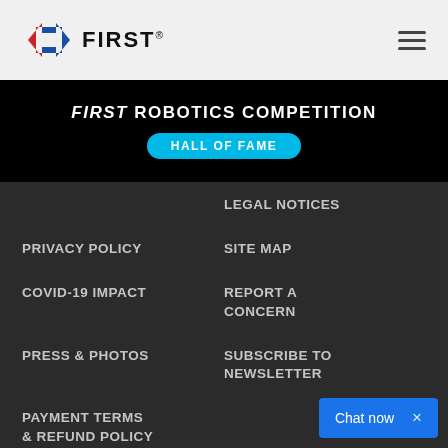[Figure (logo): FIRST Robotics logo with red and blue arrow shapes and FIRST wordmark]
FIRST ROBOTICS COMPETITION HALL OF FAME
LEGAL NOTICES
PRIVACY POLICY
SITE MAP
COVID-19 IMPACT
REPORT A CONCERN
PRESS & PHOTOS
SUBSCRIBE TO NEWSLETTER
PAYMENT TERMS & REFUND POLICY
Chat now